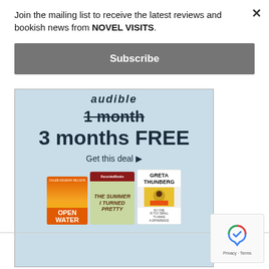Join the mailing list to receive the latest reviews and bookish news from NOVEL VISITS.
Subscribe
[Figure (screenshot): Audible advertisement banner showing '1 month' with strikethrough and '3 months FREE', 'Get this deal ▶', with book cover images including Open Water, The Summer I Turned Pretty, and Greta Thunberg audiobook]
[Figure (other): reCAPTCHA widget with Privacy and Terms links]